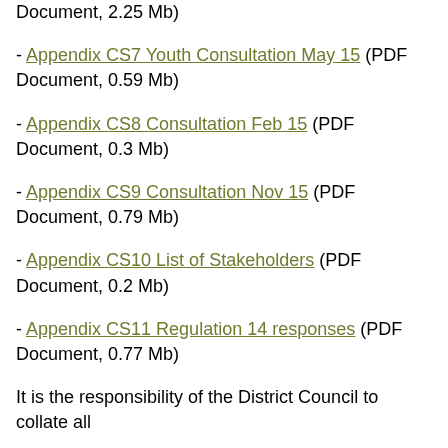- Appendix CS7 Youth Consultation May 15 (PDF Document, 0.59 Mb)
- Appendix CS8 Consultation Feb 15 (PDF Document, 0.3 Mb)
- Appendix CS9 Consultation Nov 15 (PDF Document, 0.79 Mb)
- Appendix CS10 List of Stakeholders (PDF Document, 0.2 Mb)
- Appendix CS11 Regulation 14 responses (PDF Document, 0.77 Mb)
It is the responsibility of the District Council to collate all